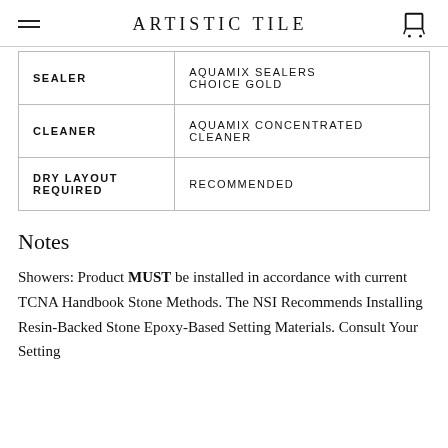ARTISTIC TILE
| SEALER | AQUAMIX SEALERS CHOICE GOLD |
| CLEANER | AQUAMIX CONCENTRATED CLEANER |
| DRY LAYOUT REQUIRED | RECOMMENDED |
Notes
Showers: Product MUST be installed in accordance with current TCNA Handbook Stone Methods. The NSI Recommends Installing Resin-Backed Stone Epoxy-Based Setting Materials. Consult Your Setting